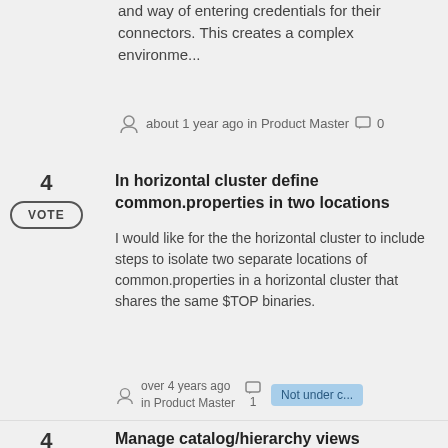and way of entering credentials for their connectors. This creates a complex environme...
about 1 year ago in Product Master  0
In horizontal cluster define common.properties in two locations
I would like for the the horizontal cluster to include steps to isolate two separate locations of common.properties in a horizontal cluster that shares the same $TOP binaries.
over 4 years ago in Product Master  1  Not under c...
Manage catalog/hierarchy views
"Hierarchy and Catalog views can be customized to personalize how item attributes are presented to a user" (Infocenter). Currently, in Single edit or